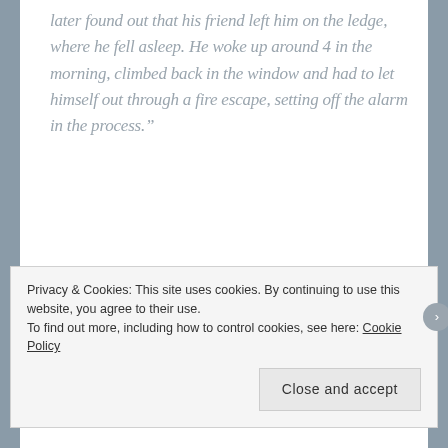later found out that his friend left him on the ledge, where he fell asleep. He woke up around 4 in the morning, climbed back in the window and had to let himself out through a fire escape, setting off the alarm in the process.”
Lastly, we often ask a question to be asked of us. We then pretend you’ll check back and read the answer. What would you like to know?
Privacy & Cookies: This site uses cookies. By continuing to use this website, you agree to their use.
To find out more, including how to control cookies, see here: Cookie Policy